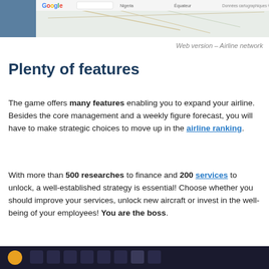[Figure (screenshot): Top portion of a Google Maps screenshot showing an airline network map over Africa, with the Google logo visible, map labels including Nigeria and Equateur, and a copyright notice '©2017 Conditions d'utilisation'.]
Web version – Airline network
Plenty of features
The game offers many features enabling you to expand your airline. Besides the core management and a weekly figure forecast, you will have to make strategic choices to move up in the airline ranking.
With more than 500 researches to finance and 200 services to unlock, a well-established strategy is essential! Choose whether you should improve your services, unlock new aircraft or invest in the well-being of your employees! You are the boss.
[Figure (screenshot): Bottom strip of a screenshot showing a dark taskbar or toolbar.]